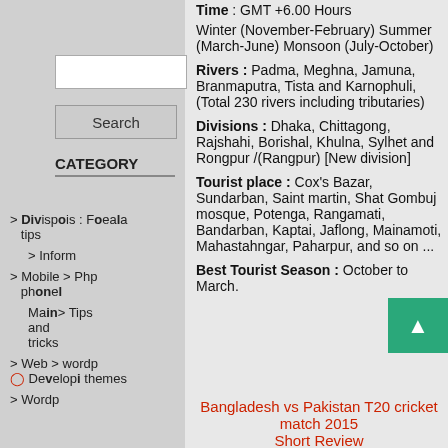Time : GMT +6.00 Hours
Winter (November-February) Summer (March-June) Monsoon (July-October)
Rivers : Padma, Meghna, Jamuna, Branmaputra, Tista and Karnophuli, (Total 230 rivers including tributaries)
CATEGORY
Divisions : Dhaka, Chittagong, Rajshahi, Borishal, Khulna, Sylhet and Rongpur /(Rangpur) [New division]
Tourist place : Cox's Bazar, Sundarban, Saint martin, Shat Gombuj mosque, Potenga, Rangamati, Bandarban, Kaptai, Jaflong, Mainamoti, Mahastahngar, Paharpur, and so on ...
Best Tourist Season : October to March.
Bangladesh vs Pakistan T20 cricket match 2015 Short Review